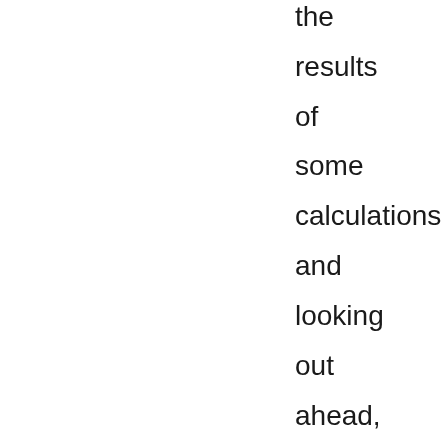the results of some calculations and looking out ahead, as well as out of statements from the Plejaren Sfath, as well as